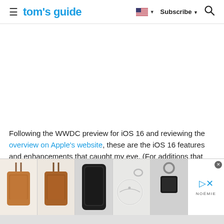tom's guide — Subscribe
Following the WWDC preview for iOS 16 and reviewing the overview on Apple's website, these are the iOS 16 features and enhancements that caught my eye. (For additions that are more off the beaten path, we've
[Figure (photo): Bottom advertisement banner showing Noemie branded leather phone bags, phone cases, a round white coin purse, and a black keychain accessory against white/light backgrounds]